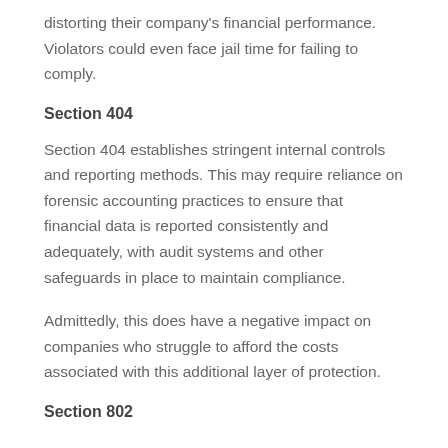distorting their company's financial performance. Violators could even face jail time for failing to comply.
Section 404
Section 404 establishes stringent internal controls and reporting methods. This may require reliance on forensic accounting practices to ensure that financial data is reported consistently and adequately, with audit systems and other safeguards in place to maintain compliance.
Admittedly, this does have a negative impact on companies who struggle to afford the costs associated with this additional layer of protection.
Section 802